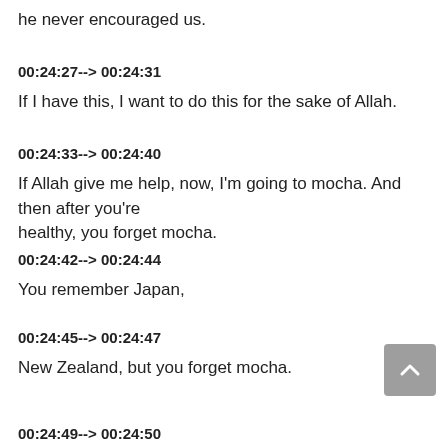he never encouraged us.
00:24:27--> 00:24:31
If I have this, I want to do this for the sake of Allah.
00:24:33--> 00:24:40
If Allah give me help, now, I'm going to mocha. And then after you're healthy, you forget mocha.
00:24:42--> 00:24:44
You remember Japan,
00:24:45--> 00:24:47
New Zealand, but you forget mocha.
00:24:49--> 00:24:50